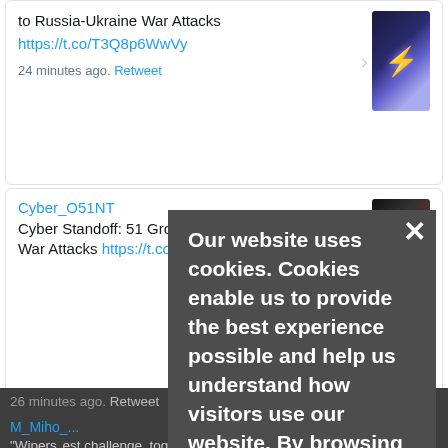to Russia-Ukraine War Attacks
https://t.co/T3Q8p6WwVy
24 minutes ago. Retweet
Cyber_O51NT
Cyber Standoff: 51 Groups Tied to Russia-Ukraine War Attacks https://t.co/T3Q8p6WwVy
26 minutes ago. Retweet
M_Miho_...
"Wipers ... biggest challenge, together ... ta or sowing chaos and sub... /jNIndlHxyC
27 minutes ago. Retweet
CyberKnightME
Feds Urge ... to Address #Cloud Security. https://t.co/Z1t4hjKSoe
31 minutes ago. Retweet
[Figure (screenshot): Cookie consent popup overlay on a cybersecurity social media feed page. The popup reads: 'Our website uses cookies. Cookies enable us to provide the best experience possible and help us understand how visitors use our website. By browsing bankinfosecurity.com, you agree to our use of cookies.']